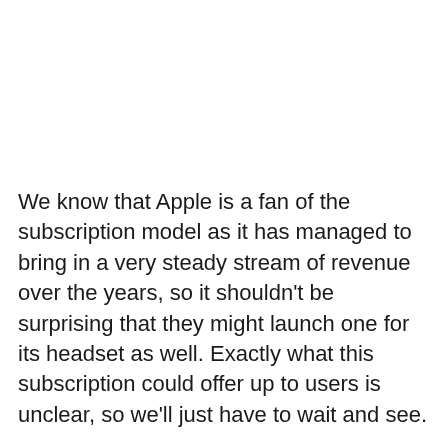We know that Apple is a fan of the subscription model as it has managed to bring in a very steady stream of revenue over the years, so it shouldn't be surprising that they might launch one for its headset as well. Exactly what this subscription could offer up to users is unclear, so we'll just have to wait and see.